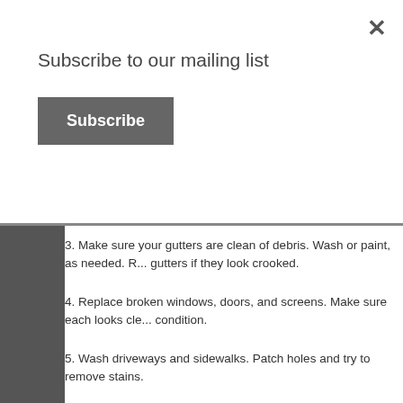Subscribe to our mailing list
Subscribe
3. Make sure your gutters are clean of debris. Wash or paint, as needed. R... gutters if they look crooked.
4. Replace broken windows, doors, and screens. Make sure each looks cle... condition.
5. Wash driveways and sidewalks. Patch holes and try to remove stains.
6. Repair any broken areas of your fence, deck, patio, etc. Make sure thes... clean and in good shape.
7. Arrange outdoor furniture and firewood neatly. Put away all lawn equipm... other toys.
8. Check the roof for shingles or flashing that needs replacing or repair.
9. Touch up the “little things” – house numbers, mailbox, doorbell, etc.
10. Add color to your yard and front porch with flowers and/or hanging pl...